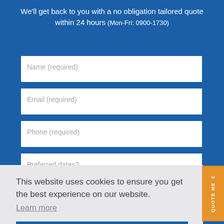We'll get back to you with a no obligation tailored quote within 24 hours (Mon-Fri: 0900-1730)
Name (required)
Email (required)
Phone (required)
Preferred dates?
This website uses cookies to ensure you get the best experience on our website.
Learn more
Got it!
QUOTE ME £